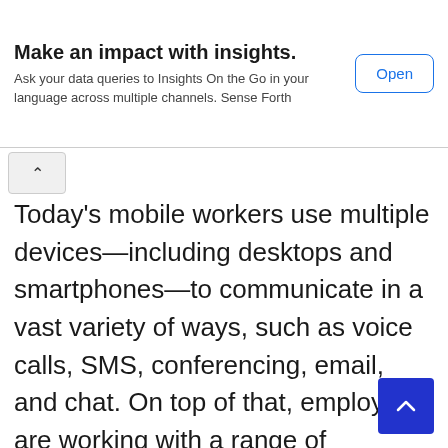[Figure (screenshot): Advertisement banner with bold title 'Make an impact with insights.', subtitle text, and an 'Open' button]
Today's mobile workers use multiple devices—including desktops and smartphones—to communicate in a vast variety of ways, such as voice calls, SMS, conferencing, email, and chat. On top of that, employees are working with a range of business apps that create even more communications channels. These devices and applications can't be easily integrated with a traditional PBX system.